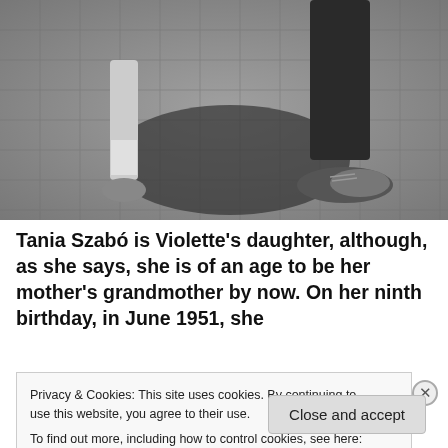[Figure (photo): Black and white photograph showing feet and lower legs of two people (a child and an adult) standing on a cobblestone/brick surface. The child wears small shoes and the adult wears leather dress shoes.]
Tania Szabó is Violette's daughter, although, as she says, she is of an age to be her mother's grandmother by now. On her ninth birthday, in June 1951, she
Privacy & Cookies: This site uses cookies. By continuing to use this website, you agree to their use.
To find out more, including how to control cookies, see here: Cookie Policy